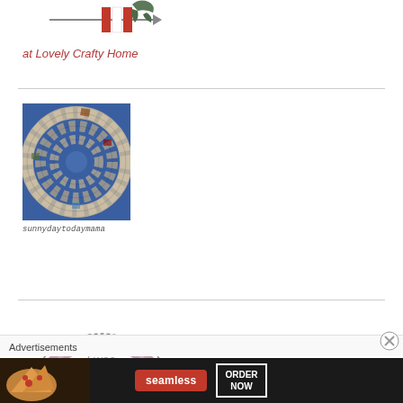[Figure (logo): Blog logo for Lovely Crafty Home showing decorative craft elements with flags and bird]
at Lovely Crafty Home
[Figure (photo): Circular spiral quilt with blue background and patchwork squares arranged in concentric rings]
sunnydaytodaymama
[Figure (illustration): I was featured badge with rainbow arch and dotted border]
Advertisements
[Figure (photo): Seamless food delivery advertisement banner showing pizza with ORDER NOW button]